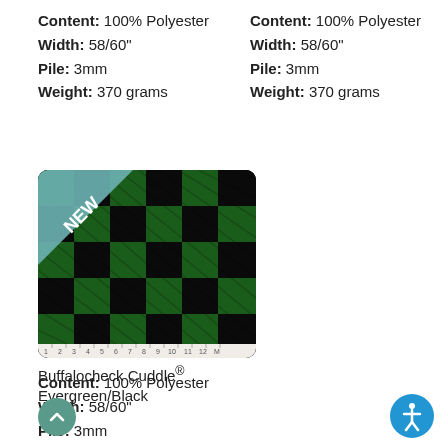Content: 100% Polyester
Width: 58/60"
Pile: 3mm
Weight: 370 grams
Content: 100% Polyester
Width: 58/60"
Pile: 3mm
Weight: 370 grams
[Figure (photo): Buffalocheck Cuddle fabric swatch in Evergreen/Black plaid pattern with a teal 'NEW' banner in the top-left corner and a ruler along the bottom edge]
Buffalocheck Cuddle® Evergreen/Black
Content: 100% Polyester
Width: 58/60"
Pile: 3mm
Weight: 370 grams